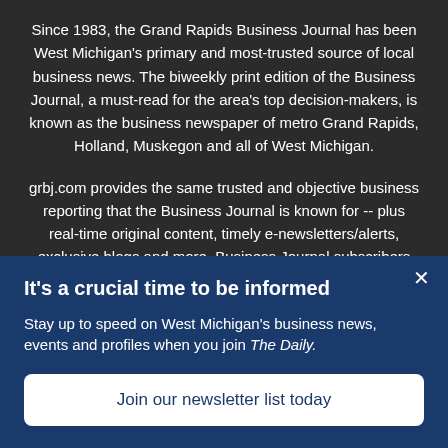Since 1983, the Grand Rapids Business Journal has been West Michigan's primary and most-trusted source of local business news. The biweekly print edition of the Business Journal, a must-read for the area's top decision-makers, is known as the business newspaper of metro Grand Rapids, Holland, Muskegon and all of West Michigan.
grbj.com provides the same trusted and objective business reporting that the Business Journal is known for -- plus real-time original content, timely e-newsletters/alerts, exclusive blogs and more. Business Journal subscribers receive the biweekly print edition, including bonus publications like the
It's a crucial time to be informed
Stay up to speed on West Michigan's business news, events and profiles when you join The Daily.
Join our newsletter list today